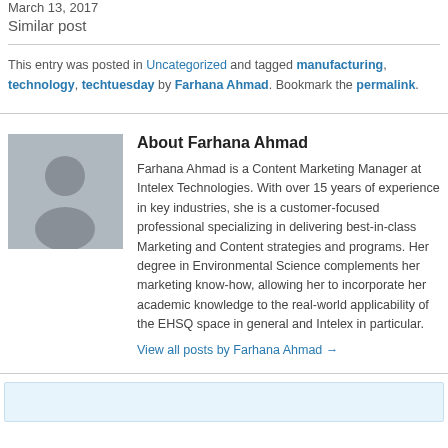March 13, 2017
Similar post
This entry was posted in Uncategorized and tagged manufacturing, technology, techtuesday by Farhana Ahmad. Bookmark the permalink.
About Farhana Ahmad
Farhana Ahmad is a Content Marketing Manager at Intelex Technologies. With over 15 years of experience in key industries, she is a customer-focused professional specializing in delivering best-in-class Marketing and Content strategies and programs. Her degree in Environmental Science complements her marketing know-how, allowing her to incorporate her academic knowledge to the real-world applicability of the EHSQ space in general and Intelex in particular.
View all posts by Farhana Ahmad →